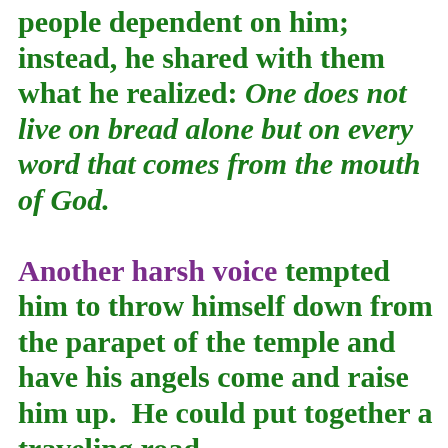people dependent on him; instead, he shared with them what he realized: One does not live on bread alone but on every word that comes from the mouth of God.

Another harsh voice tempted him to throw himself down from the parapet of the temple and have his angels come and raise him up. He could put together a traveling road